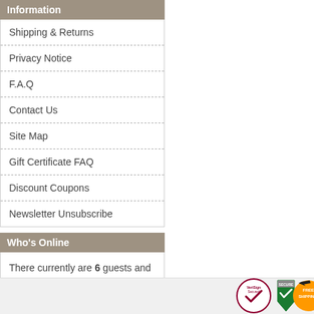Information
Shipping & Returns
Privacy Notice
F.A.Q
Contact Us
Site Map
Gift Certificate FAQ
Discount Coupons
Newsletter Unsubscribe
Who's Online
There currently are 6 guests and 1 member online.
[Figure (logo): Footer trust badges: VeriSign Secured, Secure shield, Free Shipping, Satisfaction Guarantee]